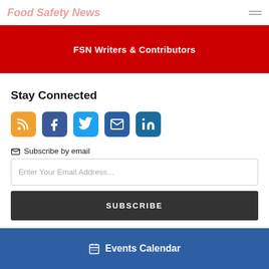Food Safety News
FSN Writers & Contributors
Stay Connected
Subscribe by email
Enter Your Email Address...
SUBSCRIBE
Events Calendar